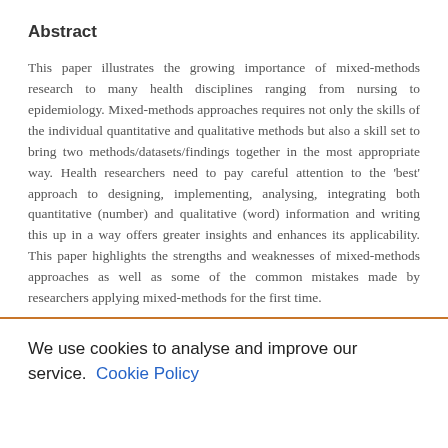Abstract
This paper illustrates the growing importance of mixed-methods research to many health disciplines ranging from nursing to epidemiology. Mixed-methods approaches requires not only the skills of the individual quantitative and qualitative methods but also a skill set to bring two methods/datasets/findings together in the most appropriate way. Health researchers need to pay careful attention to the 'best' approach to designing, implementing, analysing, integrating both quantitative (number) and qualitative (word) information and writing this up in a way offers greater insights and enhances its applicability. This paper highlights the strengths and weaknesses of mixed-methods approaches as well as some of the common mistakes made by researchers applying mixed-methods for the first time.
We use cookies to analyse and improve our service. Cookie Policy